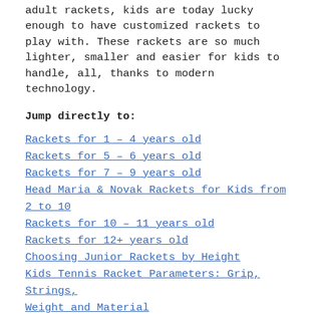adult rackets, kids are today lucky enough to have customized rackets to play with. These rackets are so much lighter, smaller and easier for kids to handle, all, thanks to modern technology.
Jump directly to:
Rackets for 1 – 4 years old
Rackets for 5 – 6 years old
Rackets for 7 – 9 years old
Head Maria & Novak Rackets for Kids from 2 to 10
Rackets for 10 – 11 years old
Rackets for 12+ years old
Choosing Junior Rackets by Height
Kids Tennis Racket Parameters: Grip, Strings, Weight and Material
The right age to start